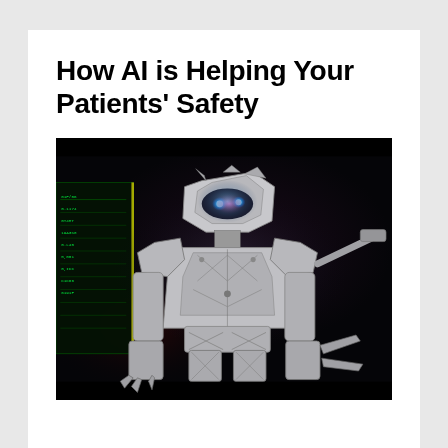How AI is Helping Your Patients' Safety
[Figure (photo): A futuristic AI robot with glowing blue eyes and metallic armor, set against a dark space-like background. A green digital display panel is visible on the left side.]